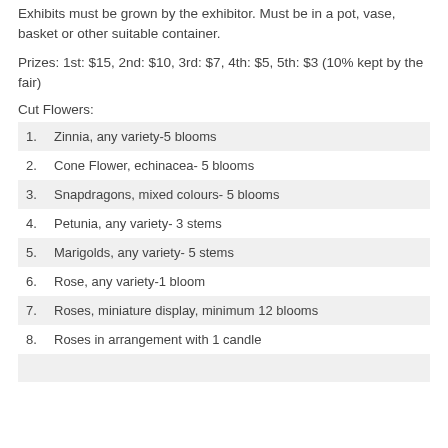Exhibits must be grown by the exhibitor. Must be in a pot, vase, basket or other suitable container.
Prizes: 1st: $15, 2nd: $10, 3rd: $7, 4th: $5, 5th: $3 (10% kept by the fair)
Cut Flowers:
1.    Zinnia, any variety-5 blooms
2.    Cone Flower, echinacea- 5 blooms
3.    Snapdragons, mixed colours- 5 blooms
4.    Petunia, any variety- 3 stems
5.    Marigolds, any variety- 5 stems
6.    Rose, any variety-1 bloom
7.    Roses, miniature display, minimum 12 blooms
8.    Roses in arrangement with 1 candle